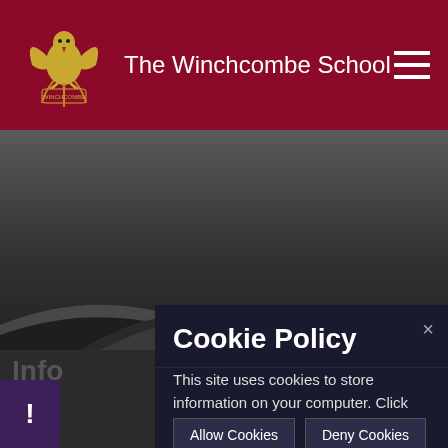The Winchcombe School
[Figure (screenshot): School website screenshot with dark hero area and wave graphic]
Cookie Policy
This site uses cookies to store information on your computer. Click here for more information
Allow Cookies  Deny Cookies